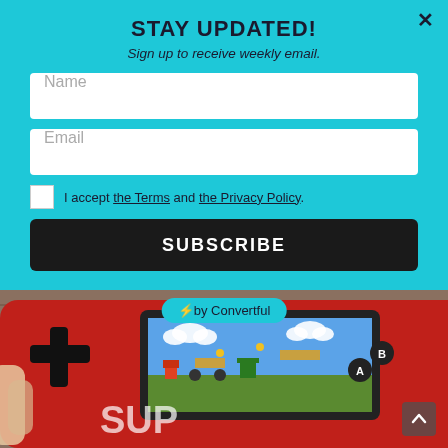[Figure (screenshot): Screenshot of a newsletter subscription popup modal with teal background, overlaid on a photo of a red handheld game console displaying a Mario-style game. The modal has a Name field, Email field, terms checkbox, and Subscribe button.]
STAY UPDATED!
Sign up to receive weekly email.
Name
Email
I accept the Terms and the Privacy Policy.
SUBSCRIBE
⚡by Convertful